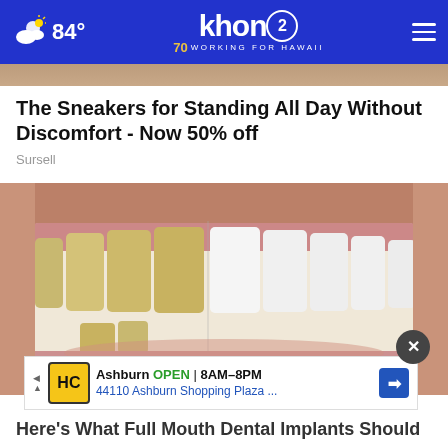84° khon2 WORKING FOR HAWAII
[Figure (photo): Partial view of a skin-toned surface at the top of the page, article thumbnail strip]
The Sneakers for Standing All Day Without Discomfort - Now 50% off
Sursell
[Figure (photo): Close-up photo of a human smile showing teeth in two states: yellow/stained teeth on the left side and white/bright teeth on the right side, dental before-and-after comparison]
[Figure (screenshot): Advertising banner: Ashburn OPEN 8AM-8PM, 44110 Ashburn Shopping Plaza ..., HC logo]
Here's What Full Mouth Dental Implants Should